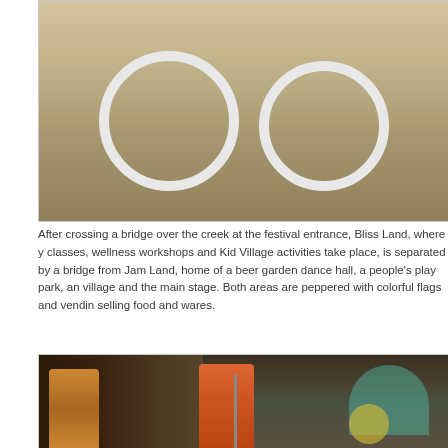[Figure (photo): Person riding a bicycle (mint/teal colored) on a dirt path, bare feet visible, shot from low angle showing wheels prominently, outdoor festival setting]
After crossing a bridge over the creek at the festival entrance, Bliss Land, where classes, wellness workshops and Kid Village activities take place, is separated by a bridge from Jam Land, home of a beer garden dance hall, a people's play park, an village and the main stage. Both areas are peppered with colorful flags and vending selling food and wares.
[Figure (photo): A band performing on stage at an outdoor festival. Musicians include a performer in colorful African print clothing on the left, a female vocalist/performer center stage in a floral dress at a microphone, a drummer behind, and a guitarist on the right. The stage backdrop features a colorful mural with swirling designs in teal, yellow and blue.]